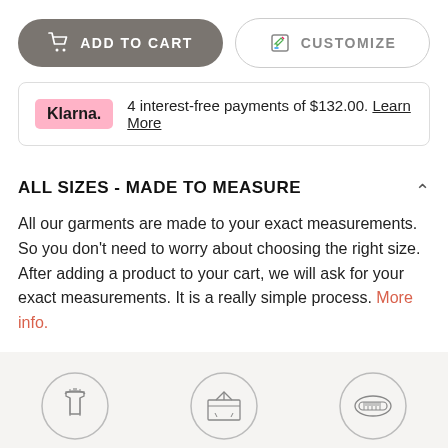[Figure (screenshot): Two buttons: a dark grey pill-shaped 'ADD TO CART' button with cart icon, and a white outlined 'CUSTOMIZE' button with pencil/edit icon]
4 interest-free payments of $132.00. Learn More
ALL SIZES - MADE TO MEASURE
All our garments are made to your exact measurements. So you don't need to worry about choosing the right size. After adding a product to your cart, we will ask for your exact measurements. It is a really simple process. More info.
[Figure (illustration): Three circle icons representing: HUNDREDS OF CUSTOMIZATIONS (suit/jacket icon), FREE SHIPPING (box icon), PERFECT FIT, GUARANTEED (measuring tape icon)]